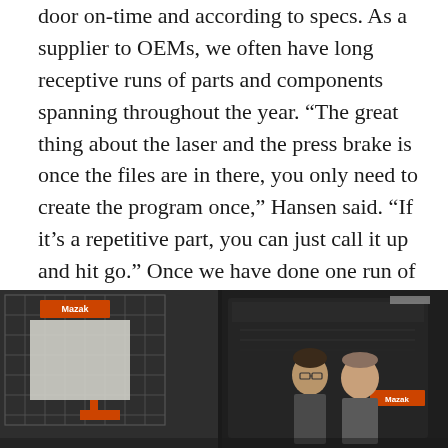door on-time and according to specs. As a supplier to OEMs, we often have long receptive runs of parts and components spanning throughout the year. “The great thing about the laser and the press brake is once the files are in there, you only need to create the program once,” Hansen said. “If it’s a repetitive part, you can just call it up and hit go.” Once we have done one run of a part the next run can be processed even faster.
[Figure (photo): Two men standing in front of large industrial laser/press brake machinery (Mazak branding visible in orange) inside a manufacturing facility.]